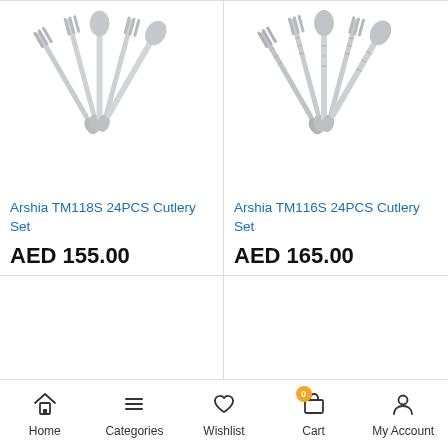[Figure (photo): Photo of Arshia TM118S 24PCS Cutlery Set - forks and spoons fanned out, light grey/silver tones]
Arshia TM118S 24PCS Cutlery Set
AED 155.00
[Figure (photo): Photo of Arshia TM116S 24PCS Cutlery Set - forks and spoons fanned out, silver tones with striped pattern]
Arshia TM116S 24PCS Cutlery Set
AED 165.00
[Figure (photo): Empty product image area for third product]
[Figure (photo): Empty product image area for fourth product]
Home  Categories  Wishlist  Cart  My Account